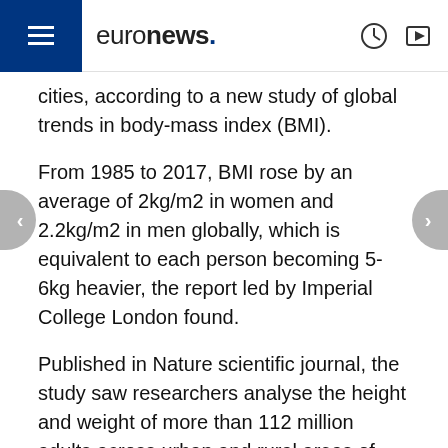euronews.
cities, according to a new study of global trends in body-mass index (BMI).
From 1985 to 2017, BMI rose by an average of 2kg/m2 in women and 2.2kg/m2 in men globally, which is equivalent to each person becoming 5-6kg heavier, the report led by Imperial College London found.
Published in Nature scientific journal, the study saw researchers analyse the height and weight of more than 112 million adults across urban and rural areas of 200 countries between 1985 and 2017.
BMI is an internationally recognised scale which shows if an individual has a healthy weight for their height by comparing the two measures.
"The results of this massive global study overturn